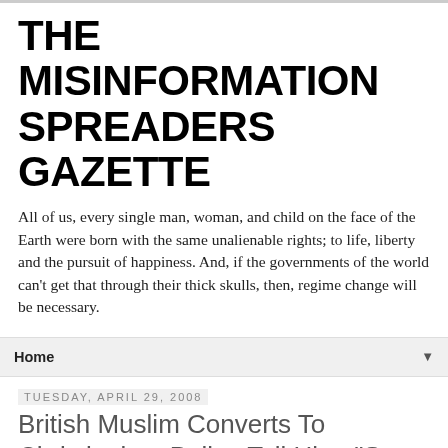THE MISINFORMATION SPREADERS GAZETTE
All of us, every single man, woman, and child on the face of the Earth were born with the same unalienable rights; to life, liberty and the pursuit of happiness. And, if the governments of the world can't get that through their thick skulls, then, regime change will be necessary.
Home
Tuesday, April 29, 2008
British Muslim Converts To Christianity - Police Tell Him, "Stop Being A Crusader"
He called the police because Muslims were bullying him, and